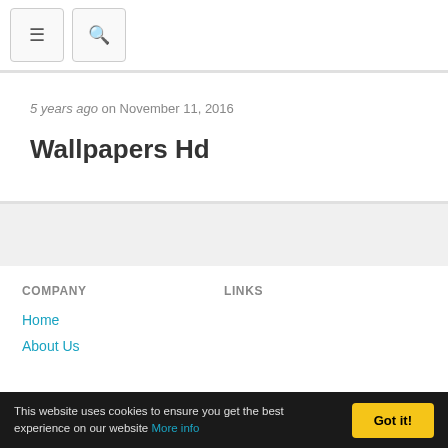Navigation bar with menu and search buttons
5 years ago on November 11, 2016
Wallpapers Hd
COMPANY
LINKS
Home
About Us
This website uses cookies to ensure you get the best experience on our website More info
Got it!